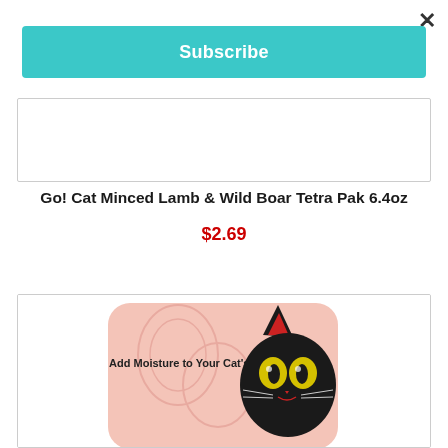×
Subscribe
[Figure (other): Top portion of a product card with white background and gray border, partially visible]
Go! Cat Minced Lamb & Wild Boar Tetra Pak 6.4oz
$2.69
[Figure (photo): Product image of cat food in a pink rounded container with a stylized black cat illustration and text 'Add Moisture to Your Cat's Diet!']